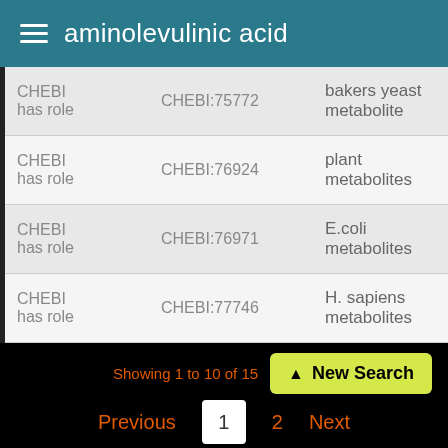aminolevulinic acid
| CHEBI has role | CHEBI:75772 | bakers yeast metabolite |
| CHEBI has role | CHEBI:76924 | plant metabolites |
| CHEBI has role | CHEBI:76971 | E.coli metabolites |
| CHEBI has role | CHEBI:77746 | H. sapiens metabolites |
Showing 1 to 10 of 15
New Search
Previous  1  2  Next
Drug Use